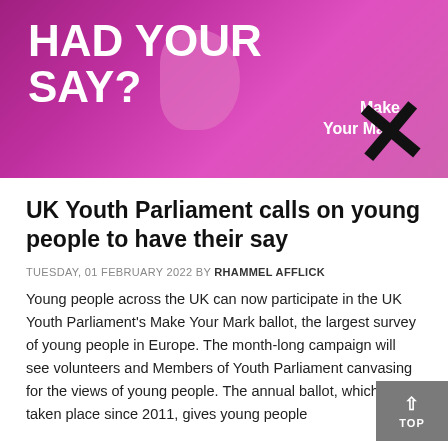[Figure (illustration): Purple and pink banner with bold white text 'HAD YOUR SAY?' and 'Make Your Mark' branding with a large black X mark]
UK Youth Parliament calls on young people to have their say
TUESDAY, 01 FEBRUARY 2022 BY RHAMMEL AFFLICK
Young people across the UK can now participate in the UK Youth Parliament's Make Your Mark ballot, the largest survey of young people in Europe. The month-long campaign will see volunteers and Members of Youth Parliament canvasing for the views of young people. The annual ballot, which has taken place since 2011, gives young people